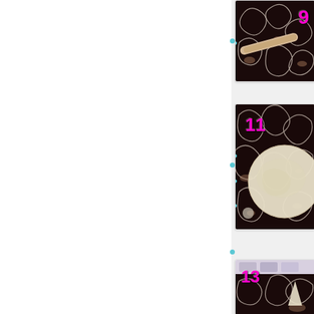[Figure (photo): Step 9: Photo showing a rolling pin on black and white ornamental fabric/surface]
[Figure (photo): Step 11: Photo showing a round flattened dough ball on black and white ornamental fabric/surface]
[Figure (photo): Step 13: Photo showing dough/food preparation step on black and white ornamental fabric/surface, partially visible]